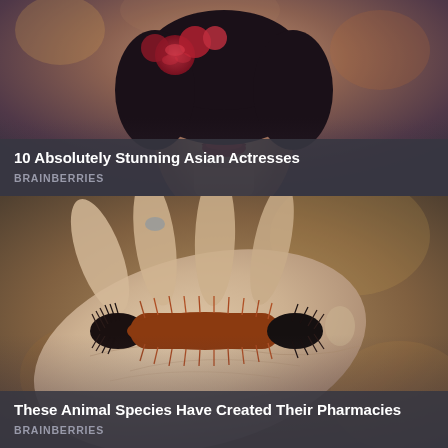[Figure (photo): Close-up photo of a woman with dark hair adorned with red roses, wearing dark lipstick, eyes closed or nearly closed, warm autumn bokeh background]
10 Absolutely Stunning Asian Actresses
BRAINBERRIES
[Figure (photo): Macro photo of a woolly bear caterpillar (black ends, rusty-brown middle) resting on an open human palm, shallow depth of field with warm bokeh background]
These Animal Species Have Created Their Pharmacies
BRAINBERRIES